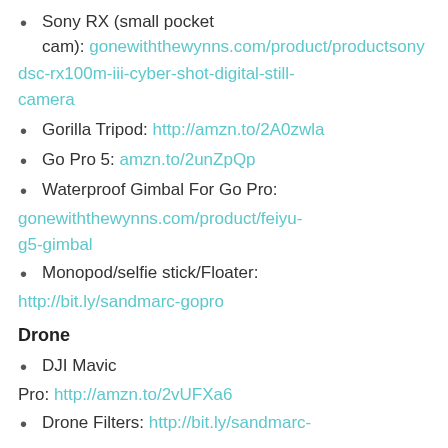Sony RX (small pocket cam): gonewiththewynns.com/product/productsony dsc-rx100m-iii-cyber-shot-digital-still-camera
Gorilla Tripod: http://amzn.to/2A0zwla
Go Pro 5: amzn.to/2unZpQp
Waterproof Gimbal For Go Pro: gonewiththewynns.com/product/feiyu-g5-gimbal
Monopod/selfie stick/Floater: http://bit.ly/sandmarc-gopro
Drone
DJI Mavic Pro: http://amzn.to/2vUFXa6
Drone Filters: http://bit.ly/sandmarc-